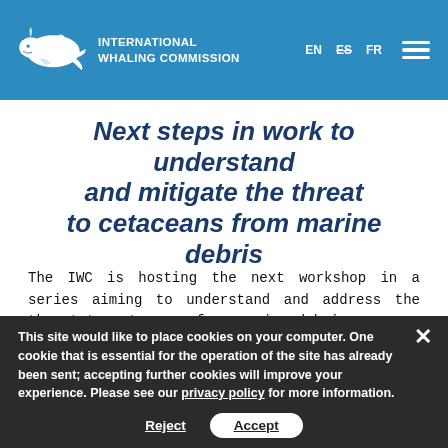INTERNATIONAL WHALING COMMISSION | EN ES FR
Next steps in work to understand and mitigate the threat to cetaceans from marine debris
The IWC is hosting the next workshop in a series aiming to understand and address the threat to cetaceans from marine debris.
Marine debris ranges from glass, metal, plastics and wood and includes abandoned or otherwise lost fishing gear. Much
This site would like to place cookies on your computer. One cookie that is essential for the operation of the site has already been sent; accepting further cookies will improve your experience. Please see our privacy policy for more information. [Reject] [Accept]